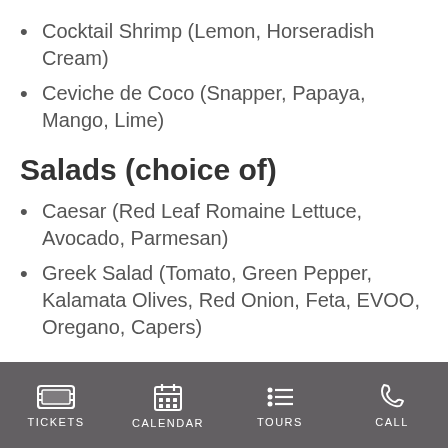Cocktail Shrimp (Lemon, Horseradish Cream)
Ceviche de Coco (Snapper, Papaya, Mango, Lime)
Salads (choice of)
Caesar (Red Leaf Romaine Lettuce, Avocado, Parmesan)
Greek Salad (Tomato, Green Pepper, Kalamata Olives, Red Onion, Feta, EVOO, Oregano, Capers)
TICKETS   CALENDAR   TOURS   CALL